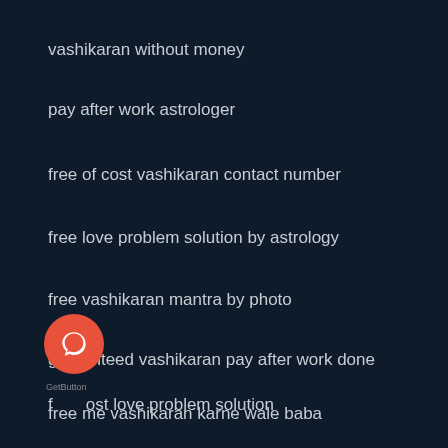vashikaran without money
pay after work astrologer
free of cost vashikaran contact number
free love problem solution by astrology
free vashikaran mantra by photo
guaranteed vashikaran pay after work done
free of cost love problem solution
free me vashikaran karne wale baba